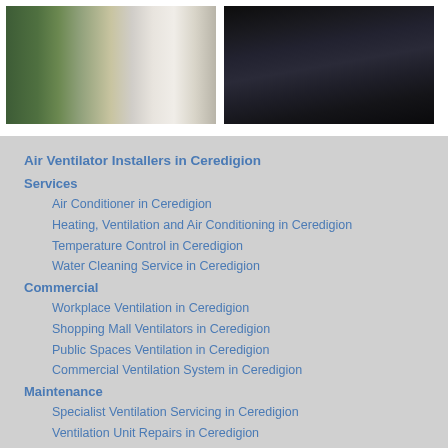[Figure (photo): Interior photo of a conference room with long table and chairs along floor-to-ceiling windows]
[Figure (photo): Close-up photo of dark industrial ventilation equipment or ductwork]
Air Ventilator Installers in Ceredigion
Services
Air Conditioner in Ceredigion
Heating, Ventilation and Air Conditioning in Ceredigion
Temperature Control in Ceredigion
Water Cleaning Service in Ceredigion
Commercial
Workplace Ventilation in Ceredigion
Shopping Mall Ventilators in Ceredigion
Public Spaces Ventilation in Ceredigion
Commercial Ventilation System in Ceredigion
Maintenance
Specialist Ventilation Servicing in Ceredigion
Ventilation Unit Repairs in Ceredigion